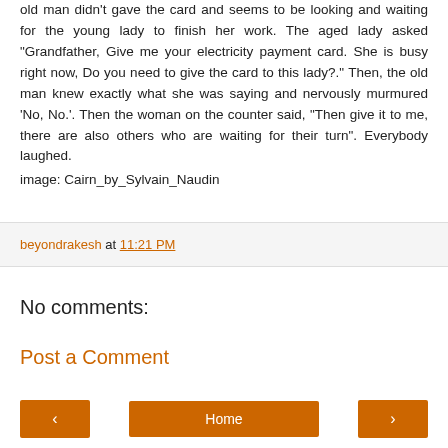old man didn't gave the card and seems to be looking and waiting for the young lady to finish her work. The aged lady asked "Grandfather, Give me your electricity payment card. She is busy right now, Do you need to give the card to this lady?." Then, the old man knew exactly what she was saying and nervously murmured 'No, No.'. Then the woman on the counter said, "Then give it to me, there are also others who are waiting for their turn". Everybody laughed.
image: Cairn_by_Sylvain_Naudin
beyondrakesh at 11:21 PM
No comments:
Post a Comment
< Home >